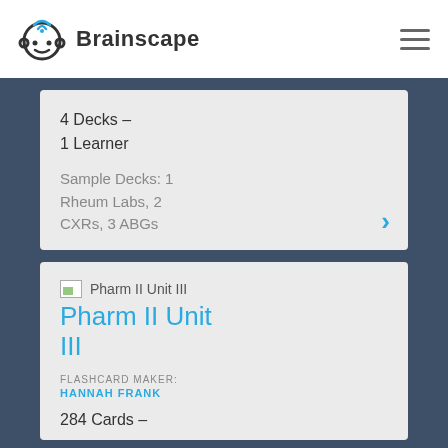Brainscape
4 Decks – 1 Learner
Sample Decks: 1 Rheum Labs, 2 CXRs, 3 ABGs
Pharm II Unit III
FLASHCARD MAKER: HANNAH FRANK
284 Cards –